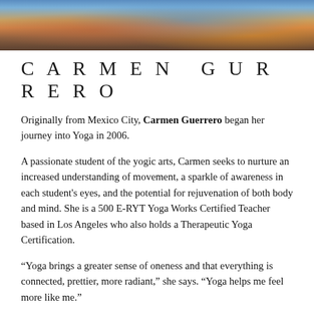[Figure (photo): Cropped photo banner showing a person with colorful tattoos on their back/shoulder area, blue and orange tones]
CARMEN GURRERO
Originally from Mexico City, Carmen Guerrero began her journey into Yoga in 2006.
A passionate student of the yogic arts, Carmen seeks to nurture an increased understanding of movement, a sparkle of awareness in each student's eyes, and the potential for rejuvenation of both body and mind. She is a 500 E-RYT Yoga Works Certified Teacher based in Los Angeles who also holds a Therapeutic Yoga Certification.
“Yoga brings a greater sense of oneness and that everything is connected, prettier, more radiant,” she says. “Yoga helps me feel more like me.”